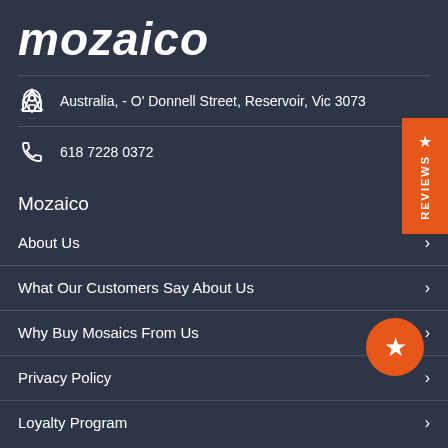mozaico
Australia, - O' Donnell Street, Reservoir, Vic 3073
618 7228 0372
Mozaico
About Us
What Our Customers Say About Us
Why Buy Mosaics From Us
Privacy Policy
Loyalty Program